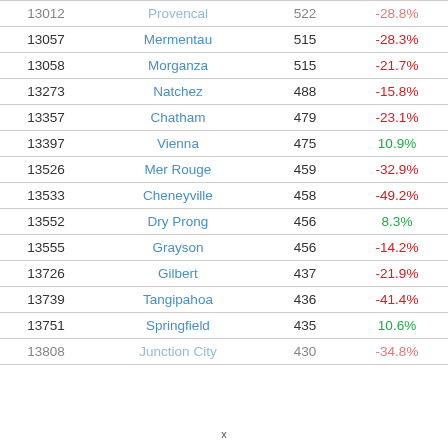| ID | City | Population | Change |
| --- | --- | --- | --- |
| 13012 | Provencal | 522 | -28.8% |
| 13057 | Mermentau | 515 | -28.3% |
| 13058 | Morganza | 515 | -21.7% |
| 13273 | Natchez | 488 | -15.8% |
| 13357 | Chatham | 479 | -23.1% |
| 13397 | Vienna | 475 | 10.9% |
| 13526 | Mer Rouge | 459 | -32.9% |
| 13533 | Cheneyville | 458 | -49.2% |
| 13552 | Dry Prong | 456 | 8.3% |
| 13555 | Grayson | 456 | -14.2% |
| 13726 | Gilbert | 437 | -21.9% |
| 13739 | Tangipahoa | 436 | -41.4% |
| 13751 | Springfield | 435 | 10.6% |
| 13808 | Junction City | 430 | -34.8% |